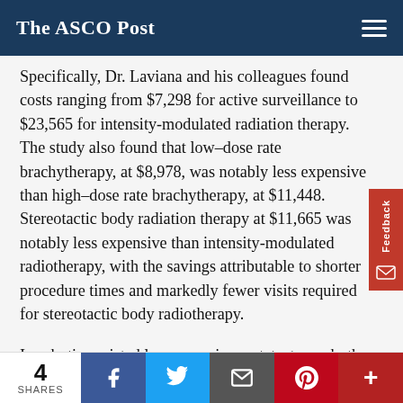The ASCO Post
Specifically, Dr. Laviana and his colleagues found costs ranging from $7,298 for active surveillance to $23,565 for intensity-modulated radiation therapy. The study also found that low–dose rate brachytherapy, at $8,978, was notably less expensive than high–dose rate brachytherapy, at $11,448. Stereotactic body radiation therapy at $11,665 was notably less expensive than intensity-modulated radiotherapy, with the savings attributable to shorter procedure times and markedly fewer visits required for stereotactic body radiotherapy.
In robotic-assisted laparoscopic prostatectomy, both equipment costs and an inpatient stay at $2,306 contributed to its high cost of $16,946. Cryotherapy, at $11,215, was more costly than low–dose rate brachytherapy, largely because of increased single-use equipment costs of $[cut off]
4 SHARES